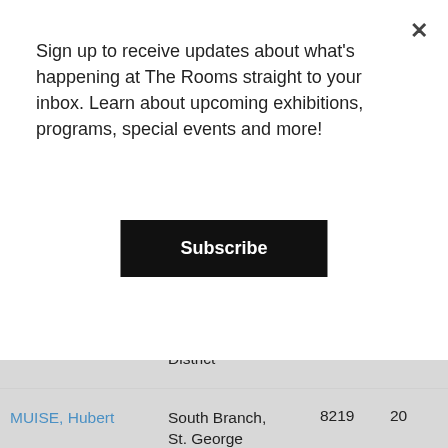Sign up to receive updates about what's happening at The Rooms straight to your inbox. Learn about upcoming exhibitions, programs, special events and more!
Subscribe
| Name | Location | Number | Age |
| --- | --- | --- | --- |
| MUISE, Hubert | South Branch, St. George District | 8219 | 20 |
| WRIGHT, George Henry | Glasgow, Scotland, United Kingdom | 2131 | 33 |
| MOXLEY, John Charles | Norris Point, Bonne Bay, St. Barbe District | 3420 | 22 |